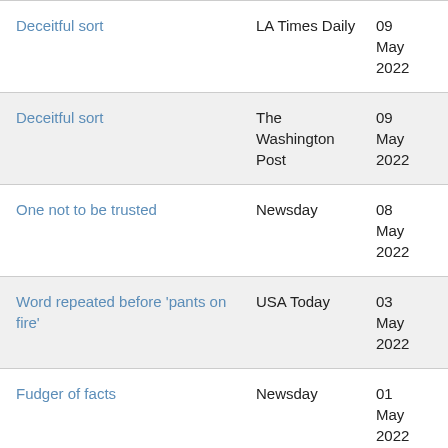|  | Source | Date |
| --- | --- | --- |
| Deceitful sort | LA Times Daily | 09 May 2022 |
| Deceitful sort | The Washington Post | 09 May 2022 |
| One not to be trusted | Newsday | 08 May 2022 |
| Word repeated before 'pants on fire' | USA Today | 03 May 2022 |
| Fudger of facts | Newsday | 01 May 2022 |